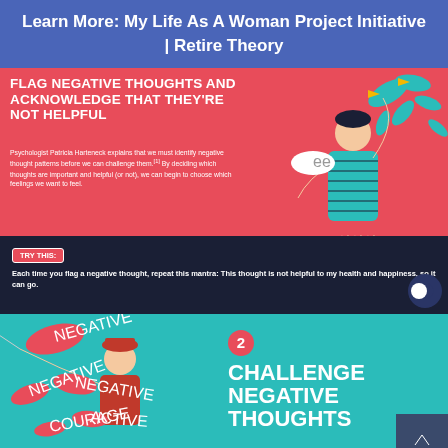Learn More: My Life As A Woman Project Initiative | Retire Theory
[Figure (infographic): Red background infographic panel showing a person flagging negative thoughts. Title reads 'FLAG NEGATIVE THOUGHTS AND ACKNOWLEDGE THAT THEY'RE NOT HELPFUL'. Includes body text by Psychologist Patricia Harteneck and a 'TRY THIS:' callout with a mantra. Illustration of a person with striped shirt raising arm with teal leaf-like shapes and flags.]
[Figure (infographic): Teal background infographic panel showing step 2: 'CHALLENGE NEGATIVE THOUGHTS'. Features an illustration of a person with a sword cutting through speech bubbles labeled 'NEGATIVE'. Number 2 shown in red circle.]